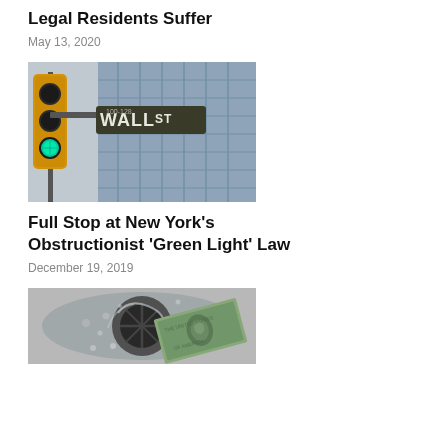Legal Residents Suffer
May 13, 2020
[Figure (photo): Green traffic light with Wall Street sign in front of a glass office building]
Full Stop at New York’s Obstructionist ‘Green Light’ Law
December 19, 2019
[Figure (photo): US dollar bill going down a drain with water swirling around it]